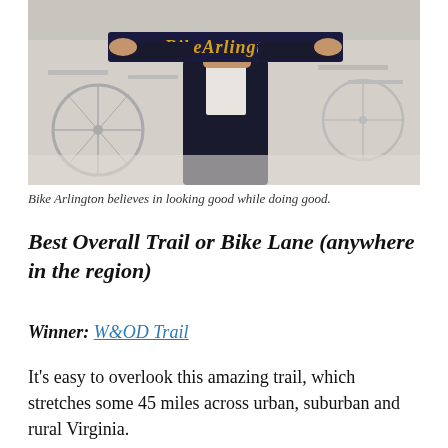[Figure (photo): A person in a dark suit holding up a dark blue scarf that reads 'BikeArlington' in gold/orange lettering. Bicycles are visible in the background.]
Bike Arlington believes in looking good while doing good.
Best Overall Trail or Bike Lane (anywhere in the region)
Winner: W&OD Trail
It's easy to overlook this amazing trail, which stretches some 45 miles across urban, suburban and rural Virginia.